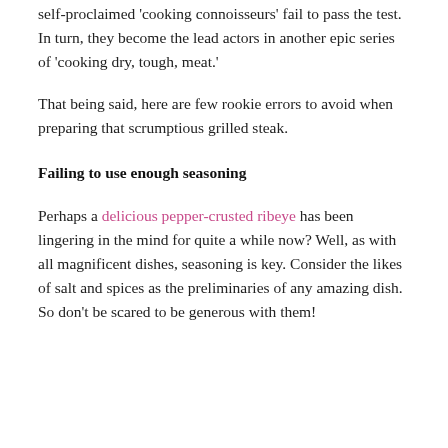self-proclaimed 'cooking connoisseurs' fail to pass the test. In turn, they become the lead actors in another epic series of 'cooking dry, tough, meat.'
That being said, here are few rookie errors to avoid when preparing that scrumptious grilled steak.
Failing to use enough seasoning
Perhaps a delicious pepper-crusted ribeye has been lingering in the mind for quite a while now? Well, as with all magnificent dishes, seasoning is key. Consider the likes of salt and spices as the preliminaries of any amazing dish. So don't be scared to be generous with them!